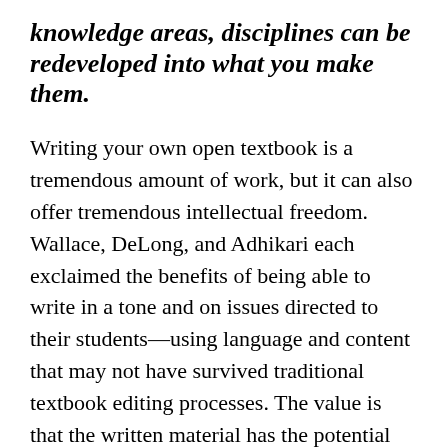knowledge areas, disciplines can be redeveloped into what you make them.
Writing your own open textbook is a tremendous amount of work, but it can also offer tremendous intellectual freedom. Wallace, DeLong, and Adhikari each exclaimed the benefits of being able to write in a tone and on issues directed to their students—using language and content that may not have survived traditional textbook editing processes. The value is that the written material has the potential for resonating more meaningfully with students.
Adhikari discussed some foundational examples in